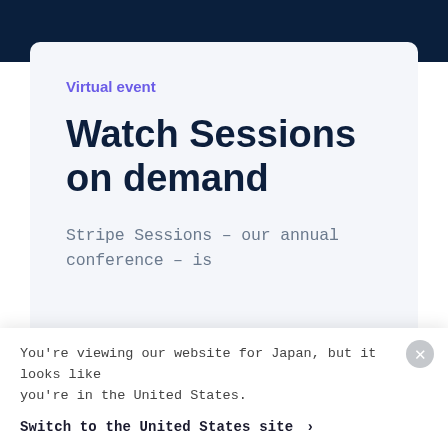Virtual event
Watch Sessions on demand
Stripe Sessions – our annual conference – is
You're viewing our website for Japan, but it looks like you're in the United States.
Switch to the United States site ›